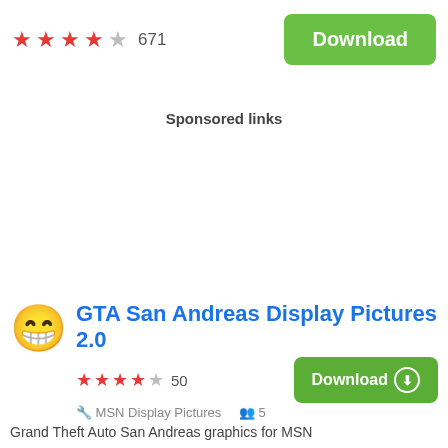[Figure (other): 4.5 star rating with 671 reviews and a green Download button]
Sponsored links
[Figure (other): App listing: GTA San Andreas Display Pictures 2.0 with smiley face icon, 4-star rating with 50 reviews, MSN Display Pictures developer, 5 users, and a green Download button]
Grand Theft Auto San Andreas graphics for MSN